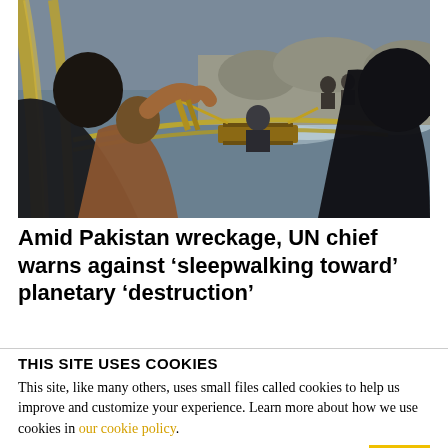[Figure (photo): People using ropes to operate a makeshift rope-and-board river crossing system over a rushing river, with rocky terrain in the background. Several men are visible pulling ropes to guide a wooden platform across the water.]
Amid Pakistan wreckage, UN chief warns against 'sleepwalking toward' planetary 'destruction'
THIS SITE USES COOKIES
This site, like many others, uses small files called cookies to help us improve and customize your experience. Learn more about how we use cookies in our cookie policy.
Learn more about cookies   OK